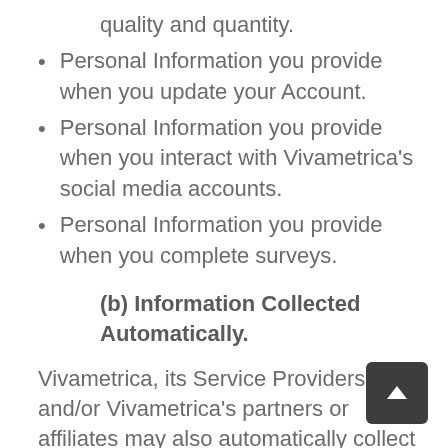quality and quantity.
Personal Information you provide when you update your Account.
Personal Information you provide when you interact with Vivametrica's social media accounts.
Personal Information you provide when you complete surveys.
(b) Information Collected Automatically.
Vivametrica, its Service Providers, and/or Vivametrica's partners or affiliates may also automatically collect certain